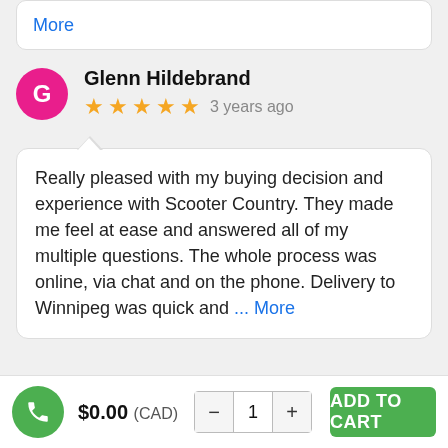More
Glenn Hildebrand
★★★★★ 3 years ago
Really pleased with my buying decision and experience with Scooter Country. They made me feel at ease and answered all of my multiple questions. The whole process was online, via chat and on the phone. Delivery to Winnipeg was quick and ... More
$0.00 (CAD)
ADD TO CART